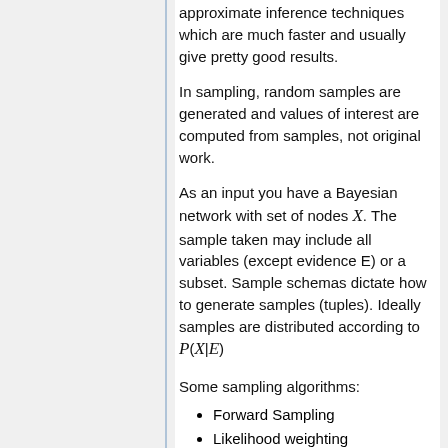approximate inference techniques which are much faster and usually give pretty good results.
In sampling, random samples are generated and values of interest are computed from samples, not original work.
As an input you have a Bayesian network with set of nodes X. The sample taken may include all variables (except evidence E) or a subset. Sample schemas dictate how to generate samples (tuples). Ideally samples are distributed according to P(X|E)
Some sampling algorithms:
Forward Sampling
Likelihood weighting
Gibbs Sampling (MCMC)